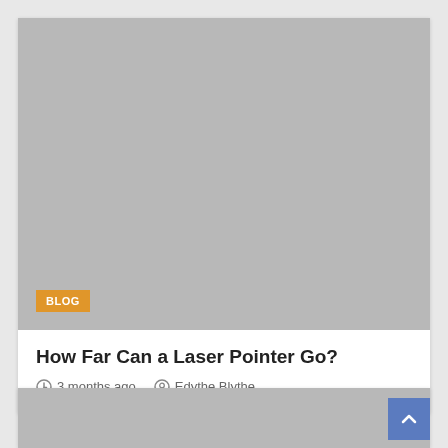[Figure (photo): Gray placeholder image for a blog post card with an orange BLOG badge in the lower left corner]
How Far Can a Laser Pointer Go?
3 months ago   Edythe Blythe
[Figure (photo): Gray placeholder image for a second blog post card with a blue scroll-to-top button in the lower right corner]